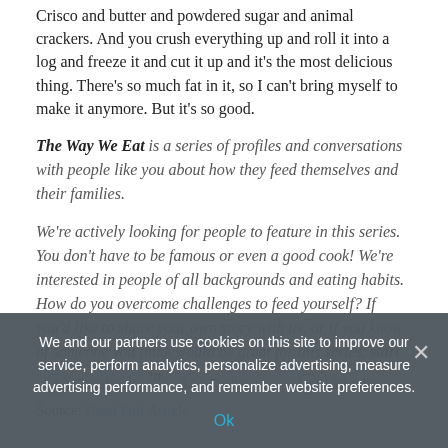Crisco and butter and powdered sugar and animal crackers. And you crush everything up and roll it into a log and freeze it and cut it up and it's the most delicious thing. There's so much fat in it, so I can't bring myself to make it anymore. But it's so good.
The Way We Eat is a series of profiles and conversations with people like you about how they feed themselves and their families.
We're actively looking for people to feature in this series. You don't have to be famous or even a good cook! We're interested in people of all backgrounds and eating habits. How do you overcome challenges to feed yourself? If you'd like to share your own story with us, or if you know of someone you think would be great for this series, start here with this form.
Source: Read Full Article
[Figure (other): Social sharing buttons for Facebook, Twitter, and LinkedIn with rounded rectangle borders]
We and our partners use cookies on this site to improve our service, perform analytics, personalize advertising, measure advertising performance, and remember website preferences.
Ok